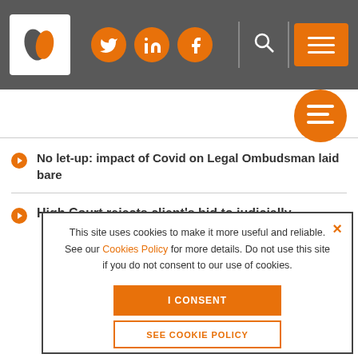[Figure (screenshot): Website header with logo, social media icons (Twitter, LinkedIn, Facebook), search icon, and orange menu button on dark grey background]
No let-up: impact of Covid on Legal Ombudsman laid bare
High Court rejects client's bid to judicially review Legal Ombudsman decision
[Figure (screenshot): Cookie consent modal dialog with close button (x), text about cookies policy, 'I CONSENT' orange button, and 'SEE COOKIE POLICY' outline button]